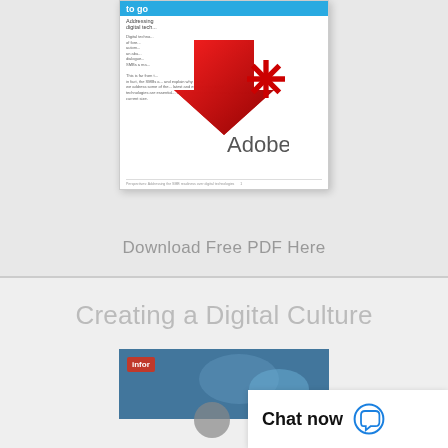[Figure (screenshot): PDF document thumbnail with Adobe download arrow icon overlay, showing a document about digital technology for SMBs]
Download Free PDF Here
Creating a Digital Culture
[Figure (screenshot): Infor branded thumbnail image showing a digital/technology scene with Infor logo badge]
Chat now